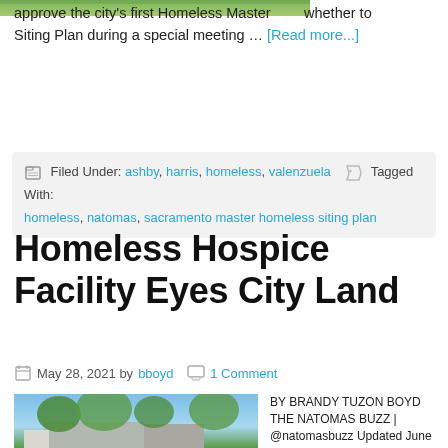[Figure (photo): Partial top image showing green outdoor/landscape scene]
whether to approve the city's first Homeless Master Siting Plan during a special meeting … [Read more...]
Filed Under: ashby, harris, homeless, valenzuela Tagged With: homeless, natomas, sacramento master homeless siting plan
Homeless Hospice Facility Eyes City Land
May 28, 2021 by bboyd  1 Comment
[Figure (photo): Photo of a small single-story house with gray siding and green trees]
BY BRANDY TUZON BOYD THE NATOMAS BUZZ | @natomasbuzz Updated June 17, 2021*